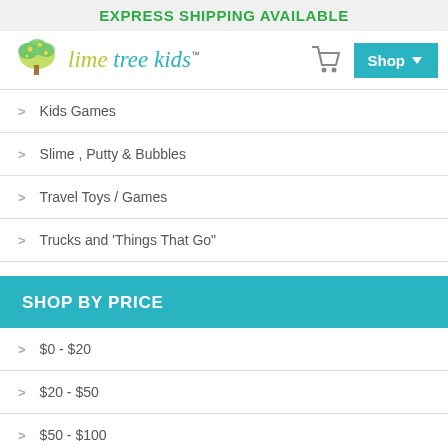EXPRESS SHIPPING AVAILABLE
[Figure (logo): Lime Tree Kids logo with illustrated tree and stylized text 'lime tree kids']
Kids Games
Slime , Putty & Bubbles
Travel Toys / Games
Trucks and 'Things That Go"
SHOP BY PRICE
$0 - $20
$20 - $50
$50 - $100